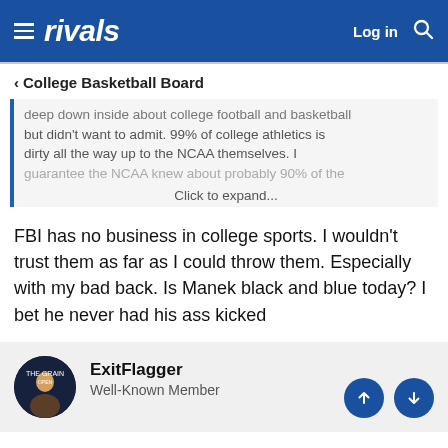rivals   Log in
< College Basketball Board
deep down inside about college football and basketball but didn't want to admit. 99% of college athletics is dirty all the way up to the NCAA themselves. I guarantee the NCAA knew about probably 90% of the
Click to expand...
FBI has no business in college sports. I wouldn't trust them as far as I could throw them. Especially with my bad back. Is Manek black and blue today? I bet he never had his ass kicked
ExitFlagger
Well-Known Member